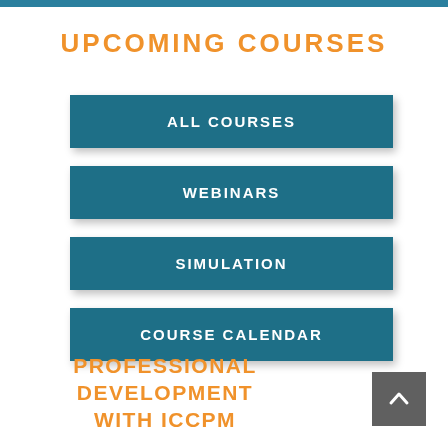UPCOMING COURSES
ALL COURSES
WEBINARS
SIMULATION
COURSE CALENDAR
PROFESSIONAL DEVELOPMENT WITH ICCPM